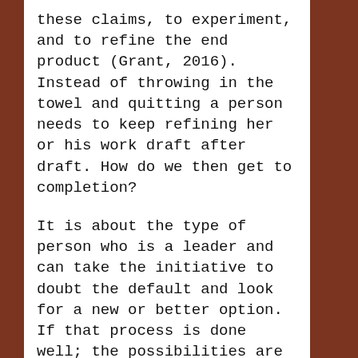these claims, to experiment, and to refine the end product (Grant, 2016). Instead of throwing in the towel and quitting a person needs to keep refining her or his work draft after draft. How do we then get to completion?
It is about the type of person who is a leader and can take the initiative to doubt the default and look for a new or better option. If that process is done well; the possibilities are the opposite of déjà vu (Grant, Ted Talk). It is called vu jàdé (Grant, Ted Talk).  It is an experience for a problem you have seen a million times and during the millionth and one; is viewed through a different set of lenses.